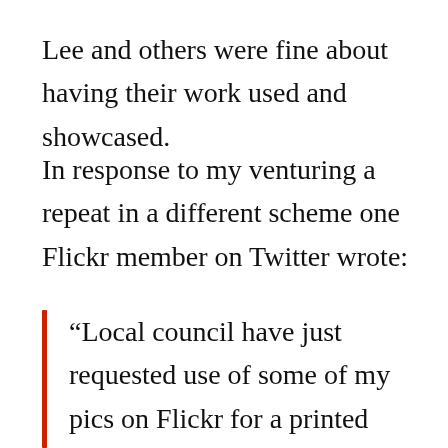Lee and others were fine about having their work used and showcased.
In response to my venturing a repeat in a different scheme one Flickr member on Twitter wrote:
“Local council have just requested use of some of my pics on Flickr for a printed guide, for a credit and linkback. I declined. Any thoughts?